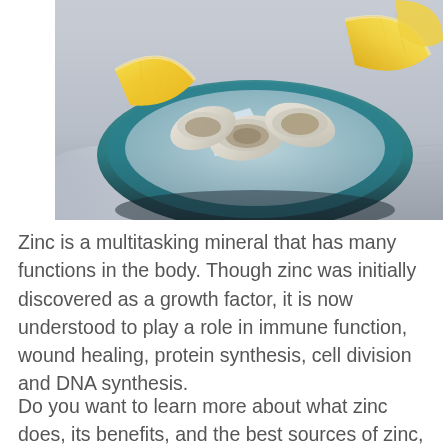[Figure (photo): Photo of oysters on a plate with lemon wedges and ice, on a gray wooden surface with a cloth napkin.]
Zinc is a multitasking mineral that has many functions in the body. Though zinc was initially discovered as a growth factor, it is now understood to play a role in immune function, wound healing, protein synthesis, cell division and DNA synthesis.
Do you want to learn more about what zinc does, its benefits, and the best sources of zinc, as well